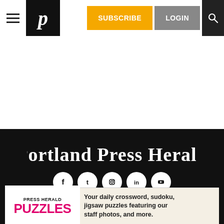Portland Press Herald — SUBSCRIBE | LOGIN
[Figure (logo): Portland Press Herald newspaper logo in old English blackletter font, white text on black footer background]
[Figure (infographic): Social media icons row: Facebook, Twitter, Instagram, LinkedIn, YouTube — white circles on black background]
CONTACT US
Staff Directory
Send a Story Tip
Letters to the Editor
FAQs
ADVERTISE
Media Kit
Contact Advertising
Help Wanted Ads
Place an Obituary
[Figure (other): Advertisement banner: PRESS HERALD PUZZLES — Your daily crossword, sudoku, jigsaw puzzles featuring our staff photos, and more.]